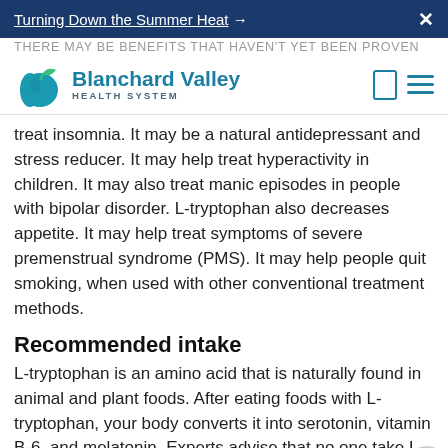Turning Down the Summer Heat →   X
[Figure (logo): Blanchard Valley Health System logo with apple icon and teal text]
THERE MAY BE BENEFITS THAT HAVEN'T YET BEEN PROVEN
treat insomnia. It may be a natural antidepressant and stress reducer. It may help treat hyperactivity in children. It may also treat manic episodes in people with bipolar disorder. L-tryptophan also decreases appetite. It may help treat symptoms of severe premenstrual syndrome (PMS). It may help people quit smoking, when used with other conventional treatment methods.
Recommended intake
L-tryptophan is an amino acid that is naturally found in animal and plant foods. After eating foods with L-tryptophan, your body converts it into serotonin, vitamin B-6, and melatonin. Experts advise that no one take L-tryptophan as a supplement. This is because it